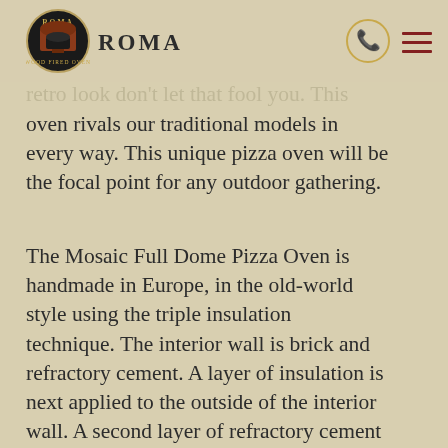ROMA Wood Fired Ovens
ile our unique mosaic tile full dome a over has a flair for the avant-garde, retro look don't let that fool you. This oven rivals our traditional models in every way. This unique pizza oven will be the focal point for any outdoor gathering.
The Mosaic Full Dome Pizza Oven is handmade in Europe, in the old-world style using the triple insulation technique. The interior wall is brick and refractory cement. A layer of insulation is next applied to the outside of the interior wall. A second layer of refractory cement is applied to create the unique mosaic